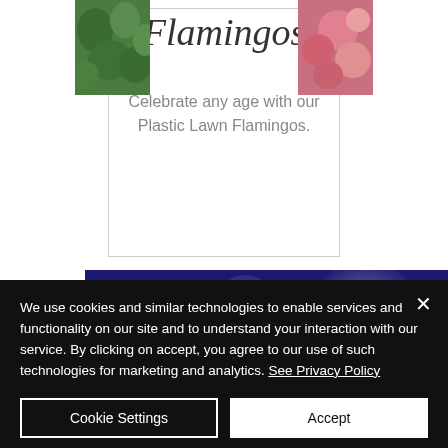[Figure (photo): Green foliage image strip on the left side of the card]
[Figure (photo): Pink floral image strip on the right side of the card]
Flamingos
Celebrate any age with our Plastic Lawn Flamingos.
[Figure (photo): Blurry bokeh background with dark blue and purple circular light orbs]
We use cookies and similar technologies to enable services and functionality on our site and to understand your interaction with our service. By clicking on accept, you agree to our use of such technologies for marketing and analytics. See Privacy Policy